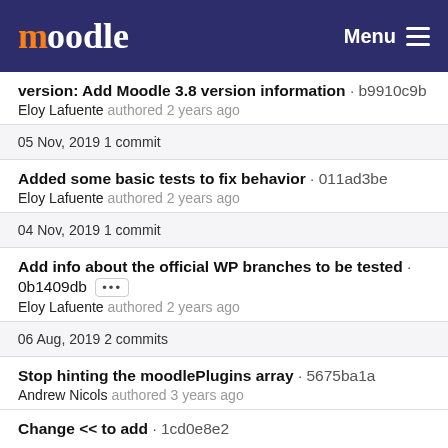moodle Menu
version: Add Moodle 3.8 version information · b9910c9b
Eloy Lafuente authored 2 years ago
05 Nov, 2019 1 commit
Added some basic tests to fix behavior · 011ad3be
Eloy Lafuente authored 2 years ago
04 Nov, 2019 1 commit
Add info about the official WP branches to be tested · 0b1409db ...
Eloy Lafuente authored 2 years ago
06 Aug, 2019 2 commits
Stop hinting the moodlePlugins array · 5675ba1a
Andrew Nicols authored 3 years ago
Change << to add · 1cd0e8e2